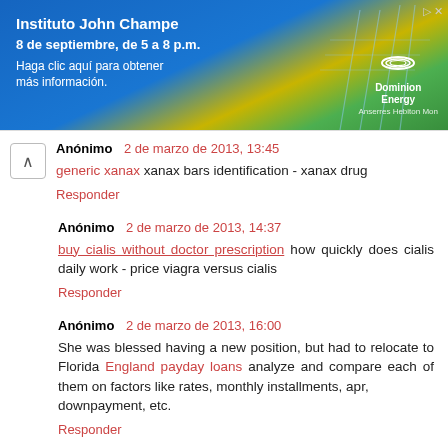[Figure (photo): Advertisement banner for Instituto John Champe with Dominion Energy branding on a blue, yellow and green gradient background]
Anónimo 2 de marzo de 2013, 13:45
generic xanax xanax bars identification - xanax drug
Responder
Anónimo 2 de marzo de 2013, 14:37
buy cialis without doctor prescription how quickly does cialis daily work - price viagra versus cialis
Responder
Anónimo 2 de marzo de 2013, 16:00
She was blessed having a new position, but had to relocate to Florida England payday loans analyze and compare each of them on factors like rates, monthly installments, apr,
downpayment, etc.
Responder